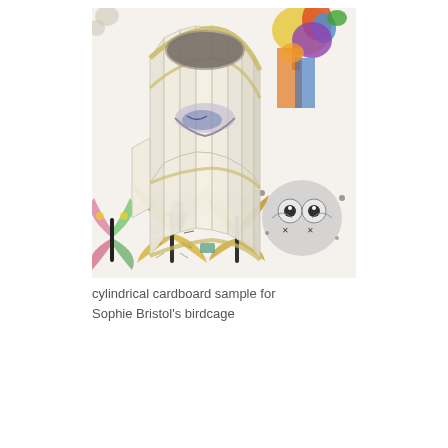[Figure (photo): A cylindrical structure made of cream/off-white cardboard panels folded into a polygonal cage shape, open at the top, placed on a decorative surface printed with colorful insects and butterflies including moths, bees, and an owl-like figure.]
cylindrical cardboard sample for Sophie Bristol's birdcage